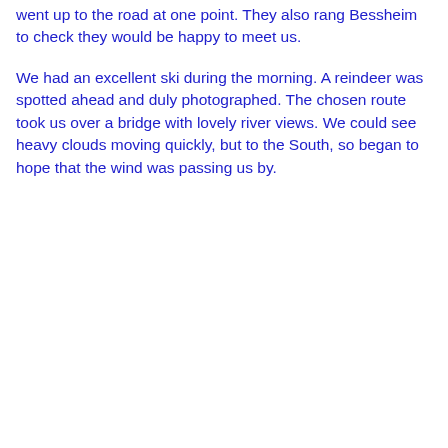went up to the road at one point. They also rang Bessheim to check they would be happy to meet us.
We had an excellent ski during the morning. A reindeer was spotted ahead and duly photographed. The chosen route took us over a bridge with lovely river views. We could see heavy clouds moving quickly, but to the South, so began to hope that the wind was passing us by.